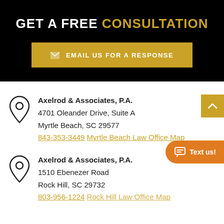GET A FREE CONSULTATION
EMAIL US FOR A RESPONSE
Axelrod & Associates, P.A.
4701 Oleander Drive, Suite A
Myrtle Beach, SC 29577
843-353-3449
Myrtle Beach Law Office Map
Axelrod & Associates, P.A.
1510 Ebenezer Road
Rock Hill, SC 29732
803-956-1224
Rock Hill Law Office Map